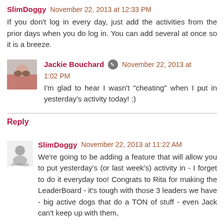SlimDoggy  November 22, 2013 at 12:33 PM
If you don't log in every day, just add the activities from the prior days when you do log in. You can add several at once so it is a breeze.
Jackie Bouchard  November 22, 2013 at 1:02 PM
I'm glad to hear I wasn't "cheating" when I put in yesterday's activity today! :)
Reply
SlimDoggy  November 22, 2013 at 11:22 AM
We're going to be adding a feature that will allow you to put yesterday's (or last week's) activity in - I forget to do it everyday too! Congrats to Rita for making the LeaderBoard - it's tough with those 3 leaders we have - big active dogs that do a TON of stuff - even Jack can't keep up with them,